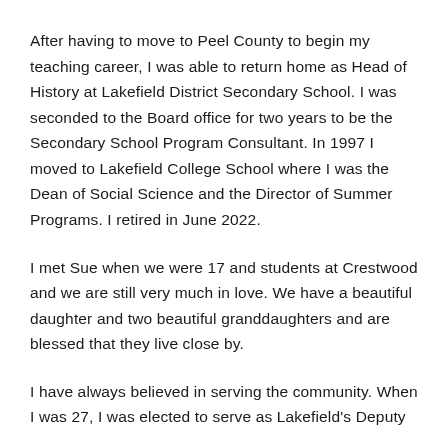After having to move to Peel County to begin my teaching career, I was able to return home as Head of History at Lakefield District Secondary School. I was seconded to the Board office for two years to be the Secondary School Program Consultant. In 1997 I moved to Lakefield College School where I was the Dean of Social Science and the Director of Summer Programs. I retired in June 2022.
I met Sue when we were 17 and students at Crestwood and we are still very much in love. We have a beautiful daughter and two beautiful granddaughters and are blessed that they live close by.
I have always believed in serving the community. When I was 27, I was elected to serve as Lakefield's Deputy